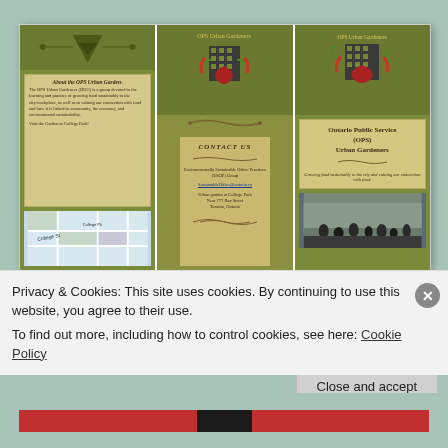[Figure (other): Screenshot of a website showing a trifold brochure for OPS Urban Gardeners. Three panels: left panel shows 'About the OPS Urban Gardeners' text card and a map; center panel shows logo/header with CONTACT US section listing Environmentally Sustainable Office Practices (ESOP) Group, email, Urban garden at College Park, Near 777 Bay Street, Toronto, Ontario; right panel shows Ontario Public Service (OPS) Urban Gardeners title card and a group photo.]
Privacy & Cookies: This site uses cookies. By continuing to use this website, you agree to their use.
To find out more, including how to control cookies, see here: Cookie Policy
Close and accept